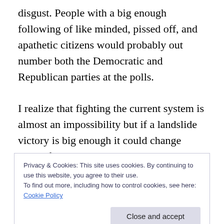disgust. People with a big enough following of like minded, pissed off, and apathetic citizens would probably out number both the Democratic and Republican parties at the polls.
I realize that fighting the current system is almost an impossibility but if a landslide victory is big enough it could change things forever in this country. Over the course of a few election cycles the Apathetic’s could run for every office available, down to the lowest common denominater. From dog catchers to presidential candidates. If they get
Privacy & Cookies: This site uses cookies. By continuing to use this website, you agree to their use.
To find out more, including how to control cookies, see here: Cookie Policy
Close and accept
would automatically fall into line and say with a lot as size d that